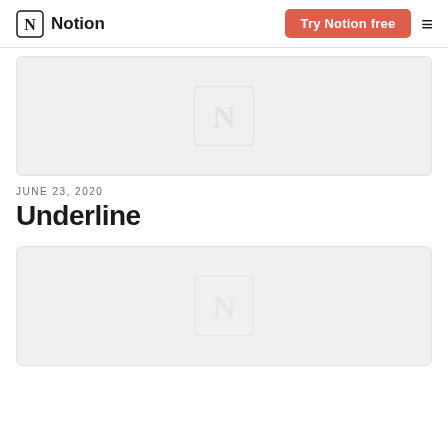Notion | Try Notion free
[Figure (screenshot): Gray placeholder image with a faint Notion logo watermark in the center]
JUNE 23, 2020
Underline
[Figure (screenshot): Gray placeholder image with a faint Notion logo watermark in the center]